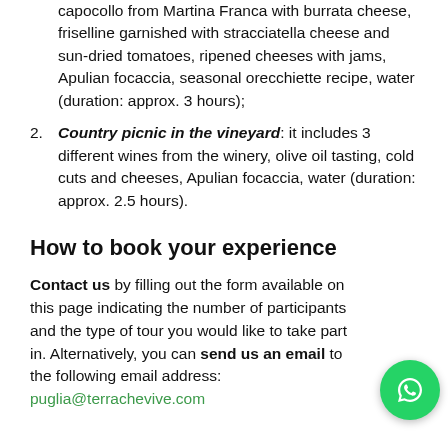capocollo from Martina Franca with burrata cheese, friselline garnished with stracciatella cheese and sun-dried tomatoes, ripened cheeses with jams, Apulian focaccia, seasonal orecchiette recipe, water (duration: approx. 3 hours);
Country picnic in the vineyard: it includes 3 different wines from the winery, olive oil tasting, cold cuts and cheeses, Apulian focaccia, water (duration: approx. 2.5 hours).
How to book your experience
Contact us by filling out the form available on this page indicating the number of participants and the type of tour you would like to take part in. Alternatively, you can send us an email to the following email address: puglia@terrachevive.com